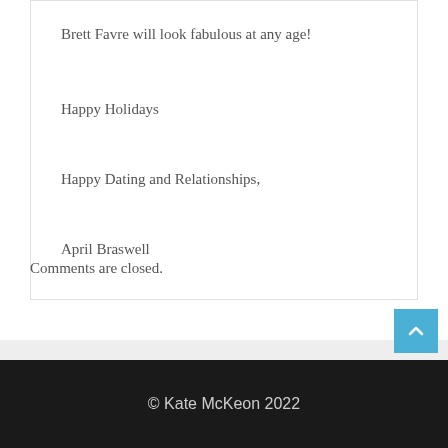Brett Favre will look fabulous at any age!
Happy Holidays
Happy Dating and Relationships,
April Braswell
Comments are closed.
© Kate McKeon 2022